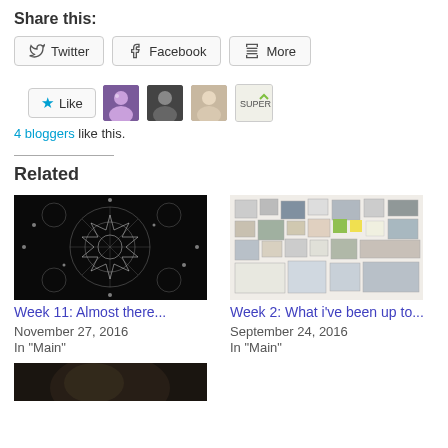Share this:
Twitter
Facebook
More
Like
4 bloggers like this.
Related
[Figure (photo): Week 11: Almost there... blog post thumbnail — black and white fractal/snowflake pattern]
Week 11: Almost there...
November 27, 2016
In "Main"
[Figure (photo): Week 2: What i've been up to... blog post thumbnail — photos and artwork pinned to a wall]
Week 2: What i've been up to...
September 24, 2016
In "Main"
[Figure (photo): Third related post thumbnail — partial view, dark background]